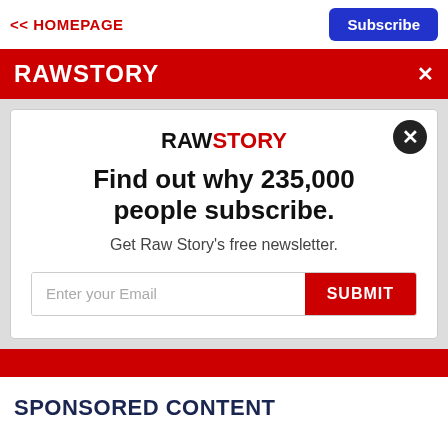<< HOMEPAGE
[Figure (screenshot): Raw Story website header with red banner showing RAWSTORY logo and close X button]
[Figure (screenshot): Modal popup with RAWSTORY logo, headline 'Find out why 235,000 people subscribe.', subtext 'Get Raw Story's free newsletter.', email input field with placeholder 'Enter your Email' and red SUBMIT button, plus dark close circle button]
SPONSORED CONTENT